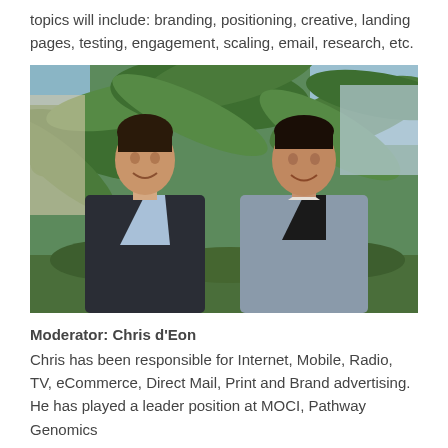topics will include: branding, positioning, creative, landing pages, testing, engagement, scaling, email, research, etc.
[Figure (photo): Two men smiling and standing in front of palm trees outdoors. Left man wears a dark suit jacket with a light blue shirt. Right man wears a gray suit jacket over a dark sweater.]
Moderator: Chris d’Eon
Chris has been responsible for Internet, Mobile, Radio, TV, eCommerce, Direct Mail, Print and Brand advertising. He has played a leader position at MOCI, Pathway Genomics...